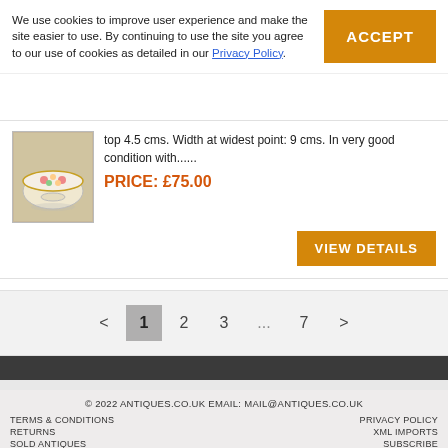We use cookies to improve user experience and make the site easier to use. By continuing to use the site you agree to our use of cookies as detailed in our Privacy Policy.
top 4.5 cms. Width at widest point: 9 cms. In very good condition with......
PRICE: £75.00
VIEW DETAILS
< 1 2 3 ... 7 >
© 2022 ANTIQUES.CO.UK EMAIL: MAIL@ANTIQUES.CO.UK
TERMS & CONDITIONS
PRIVACY POLICY
RETURNS
XML IMPORTS
SOLD ANTIQUES
SUBSCRIBE
NEWSLETTER ARCHIVE